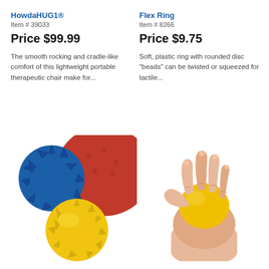HowdaHUG1®
Item # 39033
Price $99.99
The smooth rocking and cradle-like comfort of this lightweight portable therapeutic chair make for...
Flex Ring
Item # 8266
Price $9.75
Soft, plastic ring with rounded disc "beads" can be twisted or squeezed for tactile...
[Figure (photo): Three spiky sensory balls in blue, red, and yellow colors]
[Figure (photo): Hand squeezing a yellow stress ball]